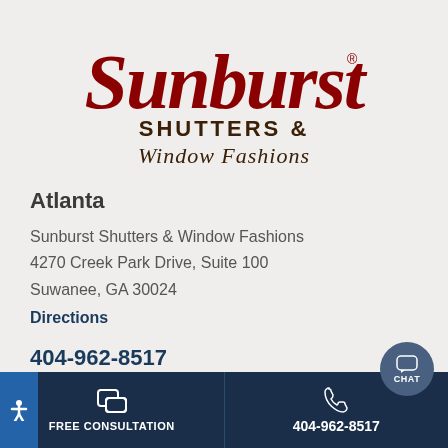[Figure (logo): Sunburst Shutters & Window Fashions logo — cursive red 'Sunburst' script with dark brown 'SHUTTERS & Window Fashions' below]
Atlanta
Sunburst Shutters & Window Fashions
4270 Creek Park Drive, Suite 100
Suwanee, GA 30024
Directions
404-962-8517
Email Store
FREE CONSULTATION | 404-962-8517 | CHAT